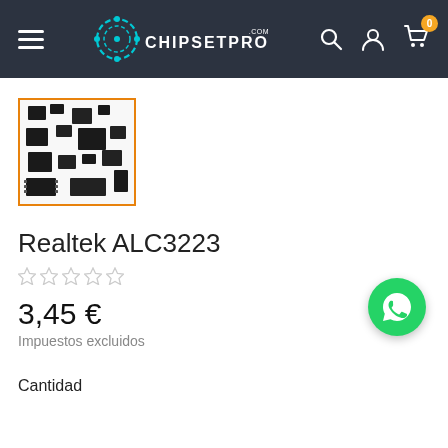CHIPSETPRO.COM — navigation header with hamburger menu, logo, search, account, and cart icons
[Figure (photo): Product thumbnail of various IC/chipset components scattered on white background, shown in a square thumbnail with orange border]
Realtek ALC3223
★☆☆☆☆ (star rating, all empty)
3,45 €
Impuestos excluidos
Cantidad